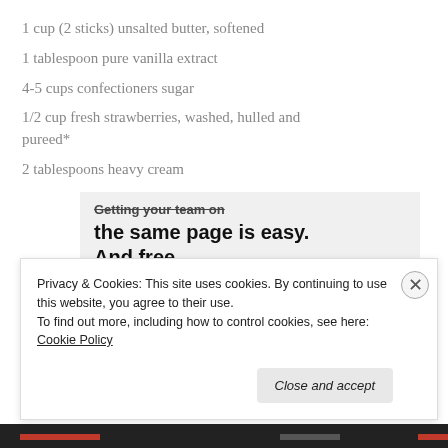1 cup (2 sticks) unsalted butter, softened
1 tablespoon pure vanilla extract
4-5 cups confectioners sugar
1/2 cup fresh strawberries, washed, hulled and pureed*
2 tablespoons heavy cream
[Figure (screenshot): Ad banner showing 'Getting your team on the same page is easy. And free.' with user avatars below]
Privacy & Cookies: This site uses cookies. By continuing to use this website, you agree to their use.
To find out more, including how to control cookies, see here: Cookie Policy
Close and accept